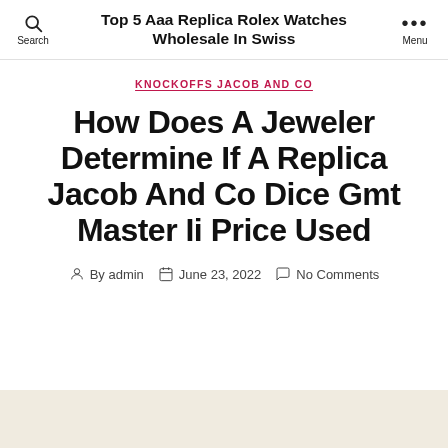Top 5 Aaa Replica Rolex Watches Wholesale In Swiss
KNOCKOFFS JACOB AND CO
How Does A Jeweler Determine If A Replica Jacob And Co Dice Gmt Master Ii Price Used
By admin  June 23, 2022  No Comments